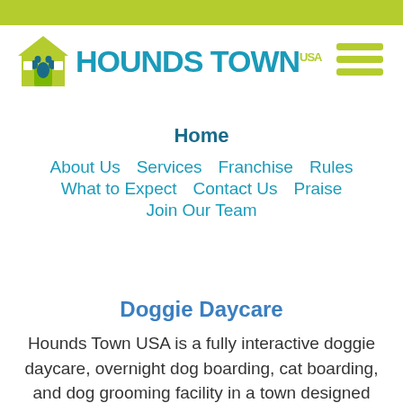[Figure (logo): Hounds Town USA logo with green house icon containing a blue paw print and teal bold text reading HOUNDS TOWN USA]
[Figure (other): Hamburger menu icon with three olive/green horizontal lines]
Home
About Us
Services
Franchise
Rules
What to Expect
Contact Us
Praise
Join Our Team
Doggie Daycare
Hounds Town USA is a fully interactive doggie daycare, overnight dog boarding, cat boarding, and dog grooming facility in a town designed just for dogs!